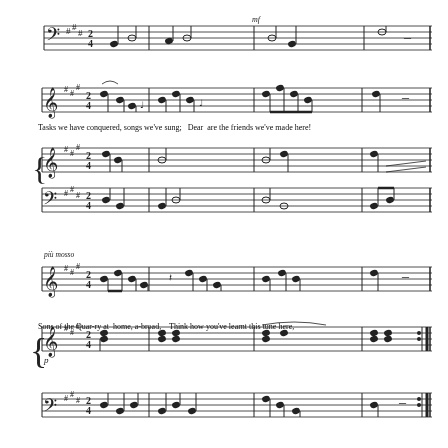[Figure (other): Musical score system 1: bass clef staff with notes, top of page (continuation)]
[Figure (other): Musical score system 2: treble clef vocal staff with lyrics 'Tasks we have conquered, songs we've sung; Dear are the friends we've made here!' plus piano grand staff below]
Tasks we have conquered, songs we've sung;   Dear  are the friends we've made here!
[Figure (other): Musical score system 3: treble clef vocal staff with lyrics 'Sons of the Quar-ry at home, a-broad,   Think how you've learnt this tune here,' plus piano grand staff below, marked 'più mosso']
Sons of the Quar-ry at  home, a-broad,    Think how you've learnt this tune here,